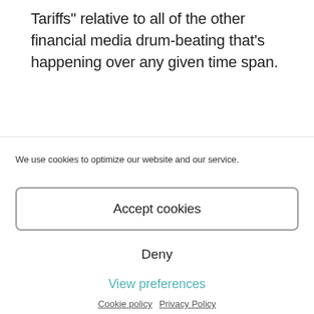Tariffs" relative to all of the other financial media drum-beating that's happening over any given time span.
We use cookies to optimize our website and our service.
Accept cookies
Deny
View preferences
Cookie policy   Privacy Policy